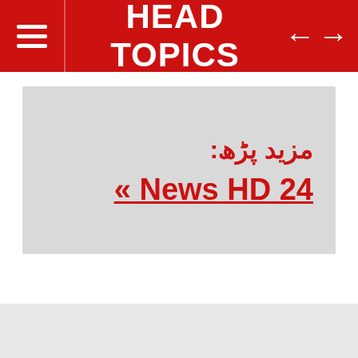HEAD TOPICS
مزید پڑھ:
« News HD 24